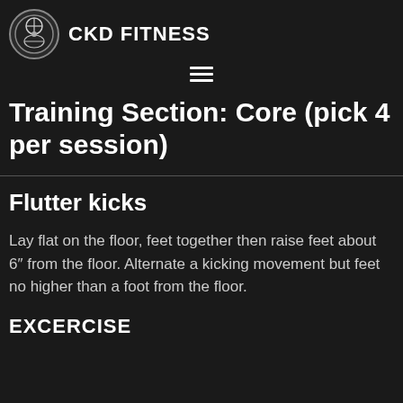CKD FITNESS
Training Section: Core (pick 4 per session)
Flutter kicks
Lay flat on the floor, feet together then raise feet about 6″ from the floor. Alternate a kicking movement but feet no higher than a foot from the floor.
EXCERCISE